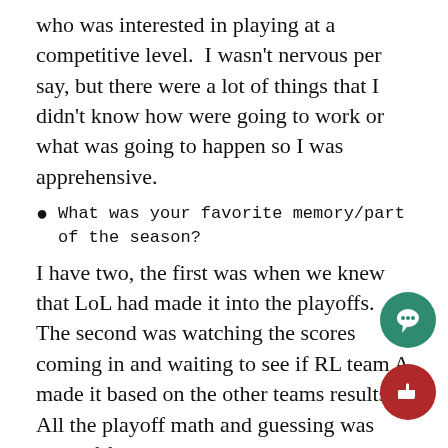who was interested in playing at a competitive level.  I wasn't nervous per say, but there were a lot of things that I didn't know how were going to work or what was going to happen so I was apprehensive.
What was your favorite memory/part of the season?
I have two, the first was when we knew that LoL had made it into the playoffs.  The second was watching the scores coming in and waiting to see if RL team A made it based on the other teams results.  All the playoff math and guessing was kind of fun.
Do you want more people to join or get involved with the Esports team?
You bet!  The more people we have interested, the